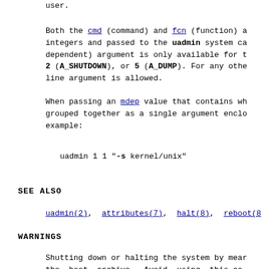user.
Both the cmd (command) and fcn (function) a integers and passed to the uadmin system ca dependent) argument is only available for t 2 (A_SHUTDOWN), or 5 (A_DUMP). For any othe line argument is allowed.
When passing an mdep value that contains wh grouped together as a single argument enclo example:
uadmin 1 1 "-s kernel/unix"
SEE ALSO
uadmin(2), attributes(7), halt(8), reboot(8
WARNINGS
Shutting down or halting the system by mear the boot archive. Avoid using this co